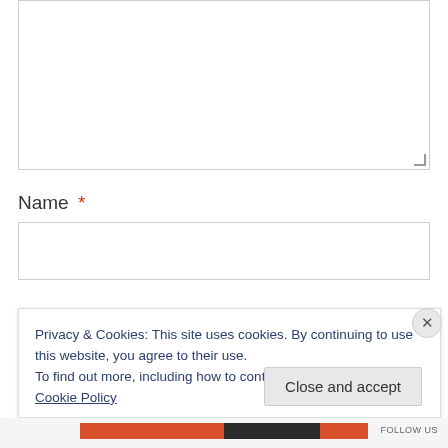[Figure (screenshot): Empty textarea input box with resize handle in bottom-right corner]
Name *
[Figure (screenshot): Empty text input box for Name field]
Privacy & Cookies: This site uses cookies. By continuing to use this website, you agree to their use.
To find out more, including how to control cookies, see here: Cookie Policy
Close and accept